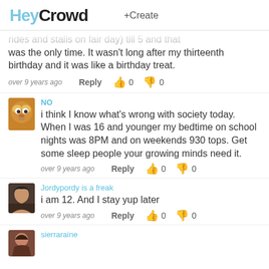HeyCrowd +Create
rides and stalls on fair day) till 5 and that was the only time. It wasn't long after my thirteenth birthday and it was like a birthday treat.
over 9 years ago  Reply  0  0
NO
i think I know what's wrong with society today. When I was 16 and younger my bedtime on school nights was 8PM and on weekends 930 tops. Get some sleep people your growing minds need it.
over 9 years ago  Reply  0  0
Jordypordy is a freak
i am 12. And I stay yup later
over 9 years ago  Reply  0  0
sierraraine